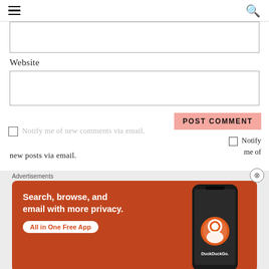Navigation menu and search
Website
POST COMMENT
Notify me of new comments via email.
Notify me of new posts via email.
Advertisements
[Figure (other): DuckDuckGo advertisement banner: orange background with white bold text 'Search, browse, and email with more privacy.' with 'All in One Free App' button and DuckDuckGo logo with duck icon on right side showing a smartphone.]